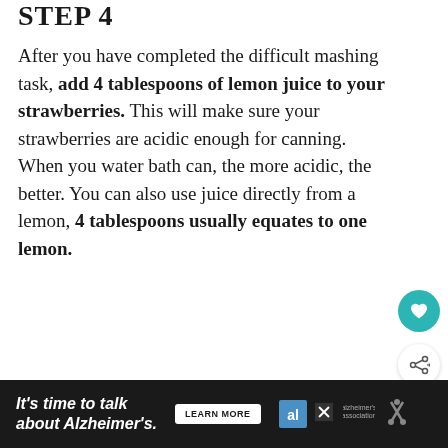STEP 4
After you have completed the difficult mashing task, add 4 tablespoons of lemon juice to your strawberries. This will make sure your strawberries are acidic enough for canning. When you water bath can, the more acidic, the better. You can also use juice directly from a lemon, 4 tablespoons usually equates to one lemon.
[Figure (other): Teal circular heart/favorite button icon]
[Figure (other): White circular share/network button icon]
[Figure (other): What's Next panel with circular thumbnail image and text 'Homemade Crockpot...']
[Figure (other): Advertisement bar: 'It's time to talk about Alzheimer's.' with LEARN MORE button and Alzheimer's Association logo]